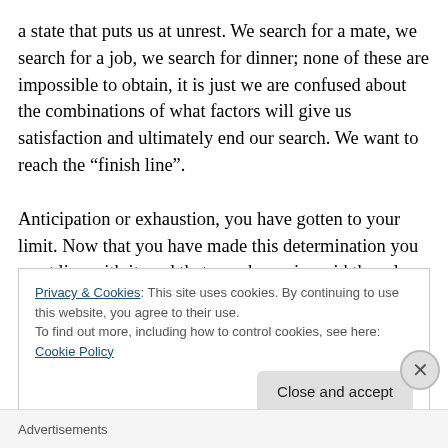a state that puts us at unrest. We search for a mate, we search for a job, we search for dinner; none of these are impossible to obtain, it is just we are confused about the combinations of what factors will give us satisfaction and ultimately end our search. We want to reach the “finish line”.

Anticipation or exhaustion, you have gotten to your limit. Now that you have made this determination you must live with it, and that may be easier said than done. Here is where finding balance comes in. I tag myself notorious for
Privacy & Cookies: This site uses cookies. By continuing to use this website, you agree to their use.
To find out more, including how to control cookies, see here: Cookie Policy
Close and accept
Advertisements